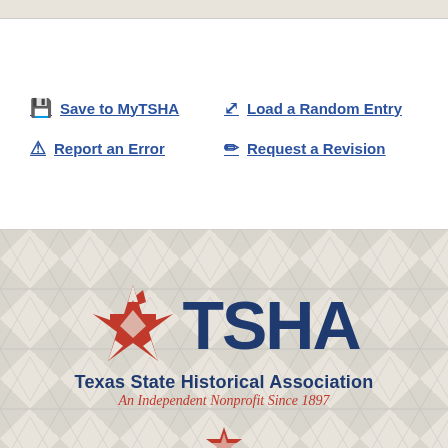Save to MyTSHA
Load a Random Entry
Report an Error
Request a Revision
[Figure (logo): Texas State Historical Association (TSHA) logo with red star emblem, 'TSHA' in large navy text, 'Texas State Historical Association' in navy, and 'An Independent Nonprofit Since 1897' in red italic text, on a beige triangular pattern background]